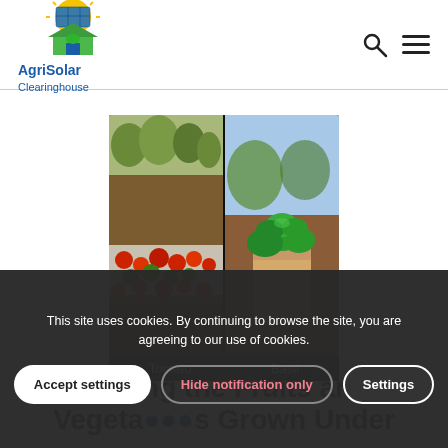[Figure (logo): AgriSolar Clearinghouse logo with sun, solar panel, house and plant icons in green/yellow/blue]
[Figure (photo): Two side-by-side photos of vegetables growing under solar panels: left shows Tomato plants with red and green tomatoes, right shows Basil plant in a pot. Both labeled at the bottom on dark background.]
Tasting the Fruits and Vegetables Grown Under
This site uses cookies. By continuing to browse the site, you are agreeing to our use of cookies.